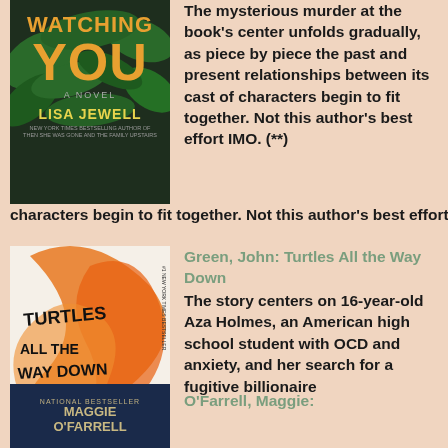[Figure (illustration): Book cover of 'Watching You' by Lisa Jewell — dark green foliage background with orange title text and yellow author name]
The mysterious murder at the book's center unfolds gradually, as piece by piece the past and present relationships between its cast of characters begin to fit together. Not this author's best effort IMO. (**)
Green, John: Turtles All the Way Down
[Figure (illustration): Book cover of 'Turtles All the Way Down' by John Green — orange swirling design on light background with bold black title and author text]
The story centers on 16-year-old Aza Holmes, an American high school student with OCD and anxiety, and her search for a fugitive billionaire who happens to be a neighbor's father. I felt that the author concentrated too much on the OCD and not enough on the mystery. But still a good book. (***)
O'Farrell, Maggie:
[Figure (illustration): Book cover of a Maggie O'Farrell novel — dark navy blue background with author name in gold/cream text]